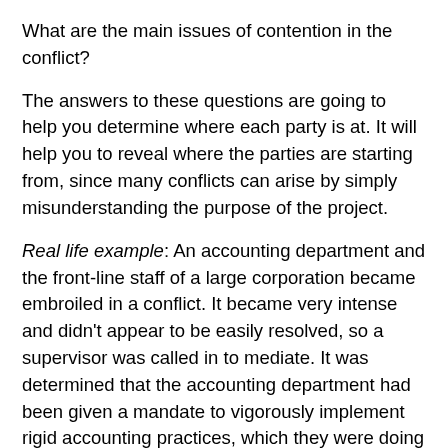What are the main issues of contention in the conflict?
The answers to these questions are going to help you determine where each party is at. It will help you to reveal where the parties are starting from, since many conflicts can arise by simply misunderstanding the purpose of the project.
Real life example: An accounting department and the front-line staff of a large corporation became embroiled in a conflict. It became very intense and didn't appear to be easily resolved, so a supervisor was called in to mediate. It was determined that the accounting department had been given a mandate to vigorously implement rigid accounting practices, which they were doing a very good job of implementing. Unfortunately, the front-line staff had been given so much additional paperwork, they were unable to do their real job of selling products to customers. The supervisor pointed out to the accounting department that, although they had to implement good accounting procedures, they were